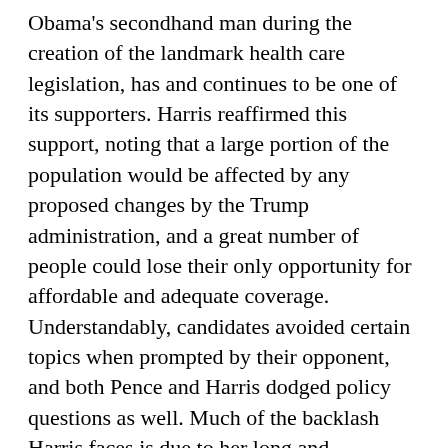Obama's secondhand man during the creation of the landmark health care legislation, has and continues to be one of its supporters. Harris reaffirmed this support, noting that a large portion of the population would be affected by any proposed changes by the Trump administration, and a great number of people could lose their only opportunity for affordable and adequate coverage. Understandably, candidates avoided certain topics when prompted by their opponent, and both Pence and Harris dodged policy questions as well. Much of the backlash Harris faces is due to her long and complicated past with “locking up” Black Americans in her capacity as prosecutor and District Attorney. Given the importance of the Black Lives Matter movement to the Democratic party’s agenda, it comes as no surprise that many leftists are reluctant to support the tough-on-crime Harris.